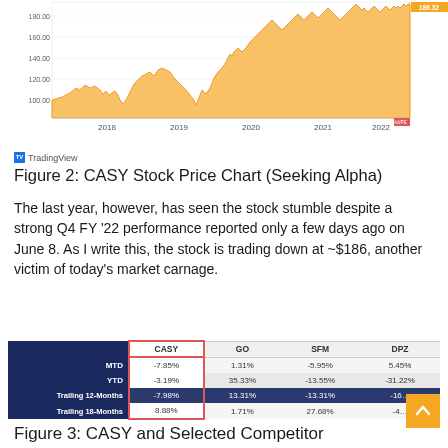[Figure (area-chart): Area chart showing CASY stock price from 2018 to 2022, rising from roughly $100 to a peak near $186.32, with an orange filled area on white background. Y-axis labels: 100.00, 120.00, 140.00, 160.00, 180.00, 186.32.]
Figure 2: CASY Stock Price Chart (Seeking Alpha)
The last year, however, has seen the stock stumble despite a strong Q4 FY '22 performance reported only a few days ago on June 8. As I write this, the stock is trading down at ~$186, another victim of today's market carnage.
|  | CASY | GO | SFM | DPZ |
| --- | --- | --- | --- | --- |
| MTD | -7.85% | 1.31% | -5.95% | 5.45% |
| YTD | -3.19% | 35.33% | -13.55% | -31.22% |
| Trailing 12-Months | -7.98% | 13.31% | -13.31% | -16… |
| Trailing 18-Months | 8.88% | 1.71% | 27.68% | -4… |
Figure 3: CASY and Selected Competitor